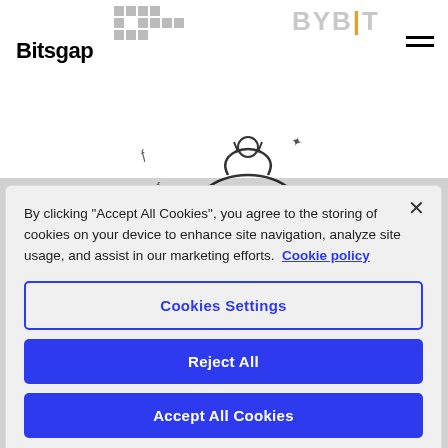[Figure (logo): Bitsgap logo text in bold black, OKX logo grid pattern in gray, Bybit logo in gray with gold pipe character, hamburger menu icon]
[Figure (illustration): Cartoon money bag with Ethereum diamond logo inside, floating coins around it, circular spinner icon on right side]
By clicking "Accept All Cookies", you agree to the storing of cookies on your device to enhance site navigation, analyze site usage, and assist in our marketing efforts.  Cookie policy
Cookies Settings
Reject All
Accept All Cookies